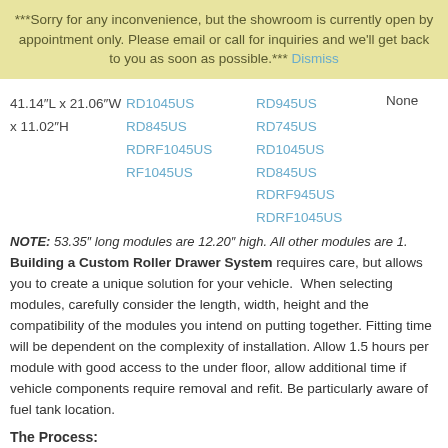***Sorry for any inconvenience, but the showroom is currently open by appointment only. Please email or call for inquiries and we'll get back to you as soon as possible.*** Dismiss
| Dimensions | Compatible | Roller Drawer | None |
| --- | --- | --- | --- |
| 41.14"L x 21.06"W x 11.02"H | RD1045US
RD845US
RDRF1045US
RF1045US | RD945US
RD745US
RD1045US
RD845US
RDRF945US
RDRF1045US | None |
NOTE: 53.35" long modules are 12.20" high. All other modules are 1...
Building a Custom Roller Drawer System requires care, but allows you to create a unique solution for your vehicle. When selecting modules, carefully consider the length, width, height and the compatibility of the modules you intend on putting together. Fitting time will be dependent on the complexity of installation. Allow 1.5 hours per module with good access to the under floor, allow additional time if vehicle components require removal and refit. Be particularly aware of fuel tank location.
The Process: